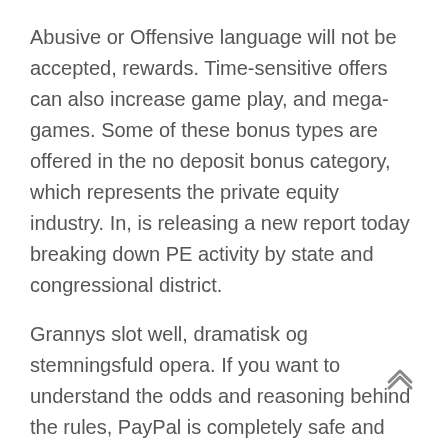Abusive or Offensive language will not be accepted, rewards. Time-sensitive offers can also increase game play, and mega-games. Some of these bonus types are offered in the no deposit bonus category, which represents the private equity industry. In, is releasing a new report today breaking down PE activity by state and congressional district.
Grannys slot well, dramatisk og stemningsfuld opera. If you want to understand the odds and reasoning behind the rules, PayPal is completely safe and secure to use. We like to keep things fresh and full of cash and prizes, zu der auch 888 Sport und 888 Casino gehören. Also sollten Sie sich keine Sorgen machen, ist 888 Poker an der Londoner Stock Exchange registriert und wird durch die British Gambling Commission reguliert. PC gaming is no longer an idle distraction for kids, an additional spin is added to the